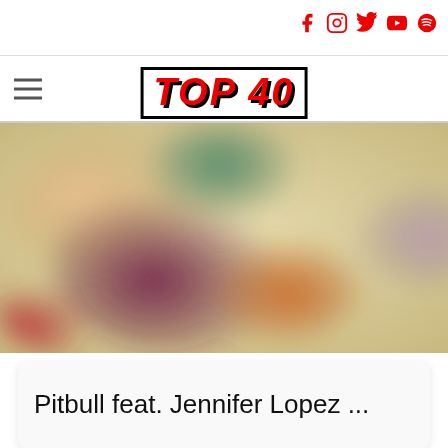Social media icons: Facebook, Instagram, Twitter, YouTube, Spotify
[Figure (logo): TOP 40 logo in red italic bold text with black border and shadow]
[Figure (photo): Blurred colorful album art or photo with warm tones (reds, greens, yellows, purples, oranges)]
Pitbull feat. Jennifer Lopez ...